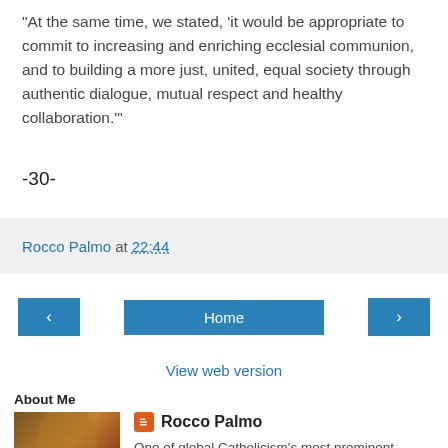"At the same time, we stated, 'it would be appropriate to commit to increasing and enriching ecclesial communion, and to building a more just, united, equal society through authentic dialogue, mutual respect and healthy collaboration.'"
-30-
Rocco Palmo at 22:44
[Figure (screenshot): Navigation buttons: left arrow, Home, right arrow]
View web version
About Me
[Figure (photo): Photo of a person in red robes standing in an ornate interior]
Rocco Palmo
One of global Catholicism's most prominent chroniclers, Rocco Palmo has held court as the "Church Whisperer" since 2004, when the pages you're reading were launched with an audience of three, grown since by